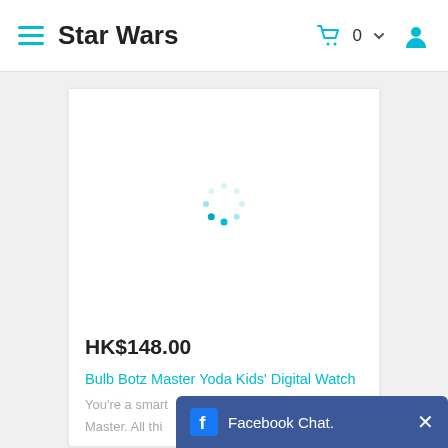Star Wars
[Figure (screenshot): Loading spinner (circular dots in teal/cyan) shown in product image area of an e-commerce product card]
HK$148.00
Bulb Botz Master Yoda Kids' Digital Watch
You're a smart... Master. All thi...
[Figure (screenshot): Facebook Chat bar overlay at bottom right, dark blue background with Facebook icon and text 'Facebook Chat.' and a close X button]